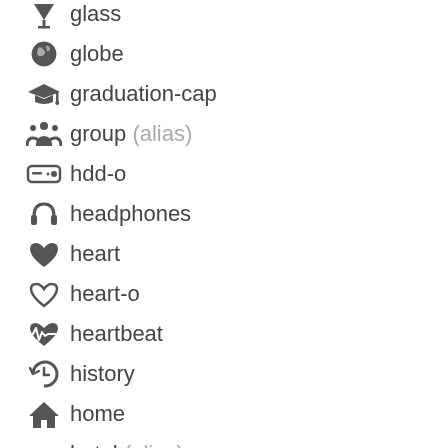glass
globe
graduation-cap
group (alias)
hdd-o
headphones
heart
heart-o
heartbeat
history
home
hotel (alias)
image (alias)